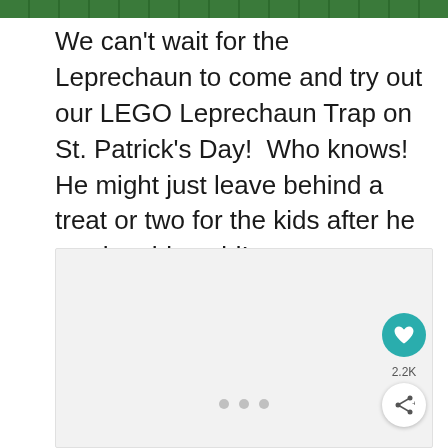[Figure (photo): Top strip showing green LEGO bricks background]
We can't wait for the Leprechaun to come and try out our LEGO Leprechaun Trap on St. Patrick's Day!  Who knows!  He might just leave behind a treat or two for the kids after he catches his gold!
[Figure (photo): Image of LEGO Leprechaun Trap, light gray background, with navigation dots at bottom and social interaction buttons (heart/like showing 2.2K, share button) on the right side]